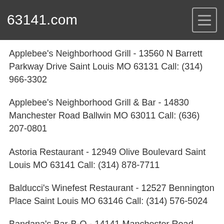63141.com
Applebee's Neighborhood Grill - 13560 N Barrett Parkway Drive Saint Louis MO 63131 Call: (314) 966-3302
Applebee's Neighborhood Grill & Bar - 14830 Manchester Road Ballwin MO 63011 Call: (636) 207-0801
Astoria Restaurant - 12949 Olive Boulevard Saint Louis MO 63141 Call: (314) 878-7711
Balducci's Winefest Restaurant - 12527 Bennington Place Saint Louis MO 63146 Call: (314) 576-5024
Bandana's Bar-B-Q - 14141 Manchester Road Ballwin